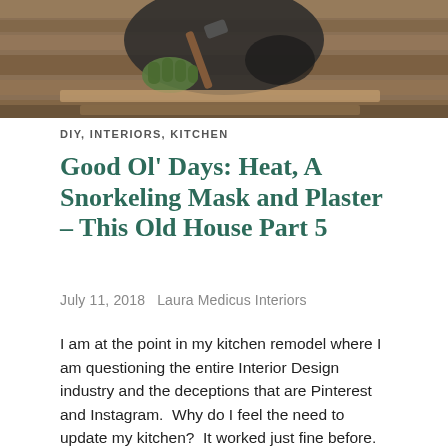[Figure (photo): A person wearing a dark shirt and green work gloves using a hammer or tool on wooden construction materials, likely a kitchen remodel scene.]
DIY, INTERIORS, KITCHEN
Good Ol' Days: Heat, A Snorkeling Mask and Plaster – This Old House Part 5
July 11, 2018   Laura Medicus Interiors
I am at the point in my kitchen remodel where I am questioning the entire Interior Design industry and the deceptions that are Pinterest and Instagram.  Why do I feel the need to update my kitchen?  It worked just fine before.  Yes, it was dark and the cabinets were over 60 years old, but it… Continue reading